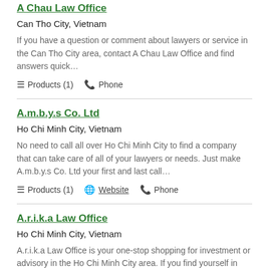A Chau Law Office
Can Tho City, Vietnam
If you have a question or comment about lawyers or service in the Can Tho City area, contact A Chau Law Office and find answers quick…
Products (1)   Phone
A.m.b.y.s Co. Ltd
Ho Chi Minh City, Vietnam
No need to call all over Ho Chi Minh City to find a company that can take care of all of your lawyers or needs. Just make A.m.b.y.s Co. Ltd your first and last call…
Products (1)   Website   Phone
A.r.i.k.a Law Office
Ho Chi Minh City, Vietnam
A.r.i.k.a Law Office is your one-stop shopping for investment or advisory in the Ho Chi Minh City area. If you find yourself in need of investment or advisory, then A.r.i.k.a Law Office is definitely the right